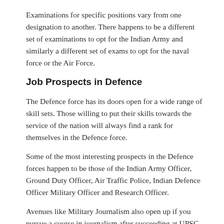Examinations for specific positions vary from one designation to another. There happens to be a different set of examinations to opt for the Indian Army and similarly a different set of exams to opt for the naval force or the Air Force.
Job Prospects in Defence
The Defence force has its doors open for a wide range of skill sets. Those willing to put their skills towards the service of the nation will always find a rank for themselves in the Defence force.
Some of the most interesting prospects in the Defence forces happen to be those of the Indian Army Officer, Ground Duty Officer, Air Traffic Police, Indian Defence Officer Military Officer and Research Officer.
Avenues like Military Journalism also open up if you pursue a course in journalism after succeeding at UPSC attempts.